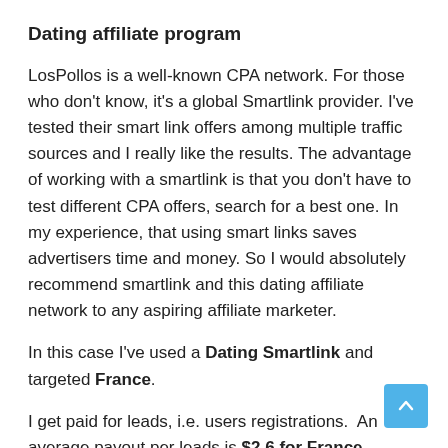Dating affiliate program
LosPollos is a well-known CPA network. For those who don't know, it's a global Smartlink provider. I've tested their smart link offers among multiple traffic sources and I really like the results. The advantage of working with a smartlink is that you don't have to test different CPA offers, search for a best one. In my experience, that using smart links saves advertisers time and money. So I would absolutely recommend smartlink and this dating affiliate network to any aspiring affiliate marketer.
In this case I've used a Dating Smartlink and targeted France.
I get paid for leads, i.e. users registrations.  An average payout per leads is $2.6 for France.